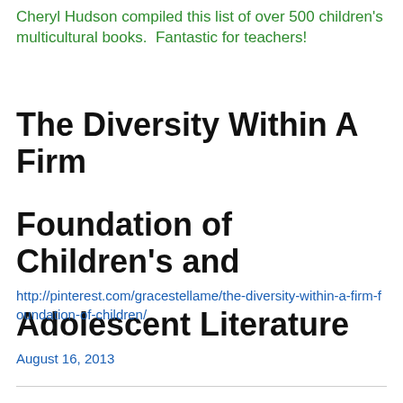Cheryl Hudson compiled this list of over 500 children's multicultural books.  Fantastic for teachers!
The Diversity Within A Firm Foundation of Children's and Adolescent Literature
http://pinterest.com/gracestellame/the-diversity-within-a-firm-foundation-of-children/
August 16, 2013